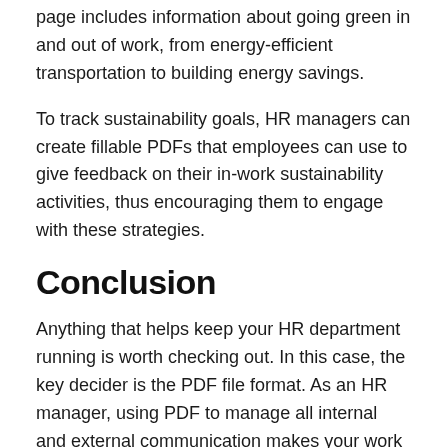page includes information about going green in and out of work, from energy-efficient transportation to building energy savings.
To track sustainability goals, HR managers can create fillable PDFs that employees can use to give feedback on their in-work sustainability activities, thus encouraging them to engage with these strategies.
Conclusion
Anything that helps keep your HR department running is worth checking out. In this case, the key decider is the PDF file format. As an HR manager, using PDF to manage all internal and external communication makes your work easier and improves your overall productivity. Take advantage of these tips at your disposal and create some new files or processes to streamline things